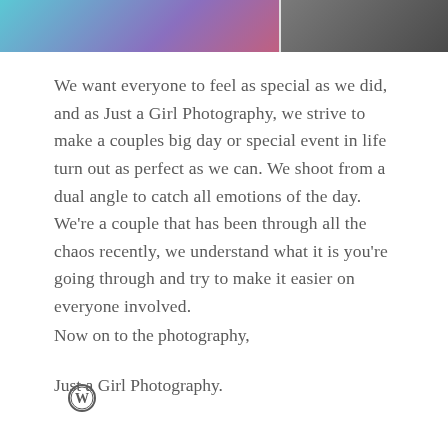[Figure (photo): Two cropped photos at the top of the page: left photo shows colorful blue and purple tones (appears to be a person in colorful attire), right photo shows a dark-toned close-up image.]
We want everyone to feel as special as we did, and as Just a Girl Photography, we strive to make a couples big day or special event in life turn out as perfect as we can. We shoot from a dual angle to catch all emotions of the day. We’re a couple that has been through all the chaos recently, we understand what it is you’re going through and try to make it easier on everyone involved.
Now on to the photography,
Just a Girl Photography.
WordPress logo